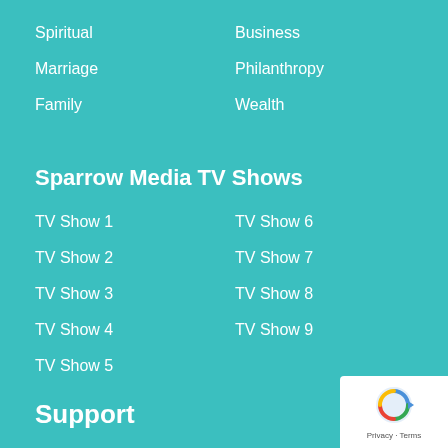Spiritual
Business
Marriage
Philanthropy
Family
Wealth
Sparrow Media TV Shows
TV Show 1
TV Show 6
TV Show 2
TV Show 7
TV Show 3
TV Show 8
TV Show 4
TV Show 9
TV Show 5
Support